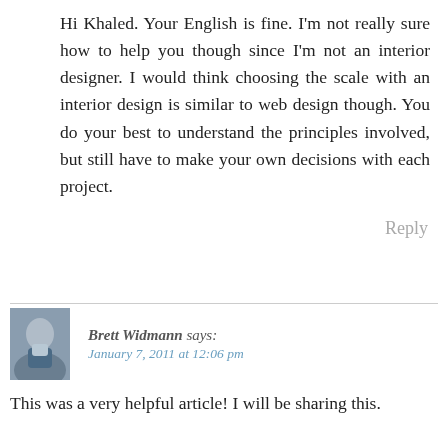Hi Khaled. Your English is fine. I'm not really sure how to help you though since I'm not an interior designer. I would think choosing the scale with an interior design is similar to web design though. You do your best to understand the principles involved, but still have to make your own decisions with each project.
Reply
Brett Widmann says: January 7, 2011 at 12:06 pm
This was a very helpful article! I will be sharing this.